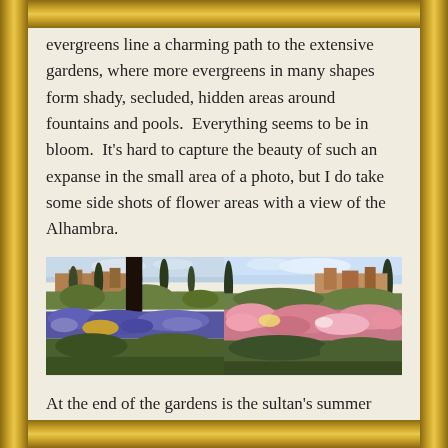evergreens line a charming path to the extensive gardens, where more evergreens in many shapes form shady, secluded, hidden areas around fountains and pools.  Everything seems to be in bloom.  It's hard to capture the beauty of such an expanse in the small area of a photo, but I do take some side shots of flower areas with a view of the Alhambra.
[Figure (photo): Two side-by-side photographs of the gardens at the Generalife near the Alhambra. Left photo shows purple and blue flowering plants in the foreground with the Alhambra palace complex and cypress trees visible in the background under a slightly cloudy sky. Right photo shows pink and red roses in the foreground with the Alhambra complex visible in the background against a blue sky.]
At the end of the gardens is the sultan's summer home, a cool and quiet escape.  You saw the overview of the summer home earlier (above) when we discussed the aqueduct.  Now we'll go